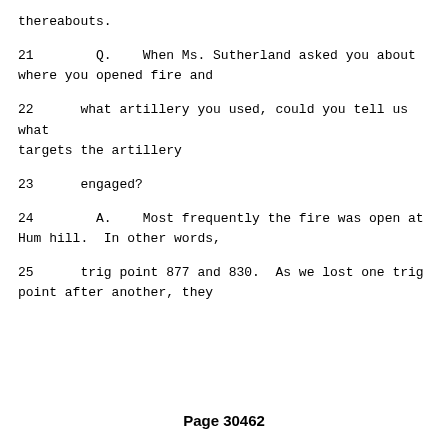thereabouts.
21        Q.    When Ms. Sutherland asked you about where you opened fire and
22      what artillery you used, could you tell us what targets the artillery
23      engaged?
24        A.    Most frequently the fire was open at Hum hill.  In other words,
25      trig point 877 and 830.  As we lost one trig point after another, they
Page 30462